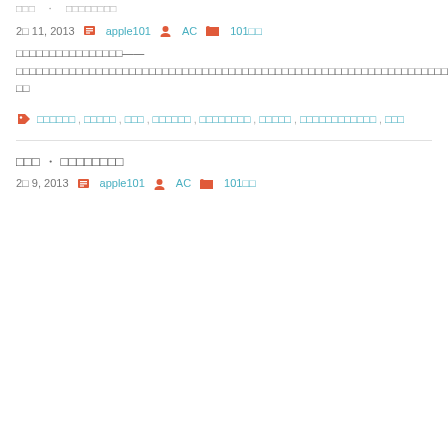□□□　・　□□□□□□□□
2□ 11, 2013   apple101   AC   101□□
□□□□□□□□□□□□□□□□——□□□□□□□□□□□□□□□□□□□□□□□□□□□□□□□□□□□□□□□□□□□□□□□□□□□□□□
□□□□□□, □□□□□, □□□, □□□□□□, □□□□□□□□, □□□□□, □□□□□□□□□□□□, □□□
□□□ · □□□□□□□□
2□ 9, 2013   apple101   AC   101□□